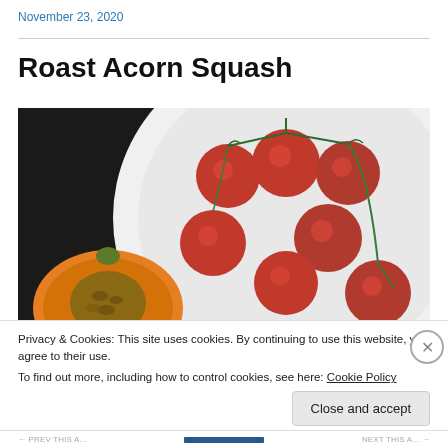November 23, 2020
Roast Acorn Squash
[Figure (photo): A white plate with cherry tomatoes on the vine and a halved acorn squash showing seeds and flesh, photographed from above on a dark background.]
Privacy & Cookies: This site uses cookies. By continuing to use this website, you agree to their use.
To find out more, including how to control cookies, see here: Cookie Policy
Close and accept